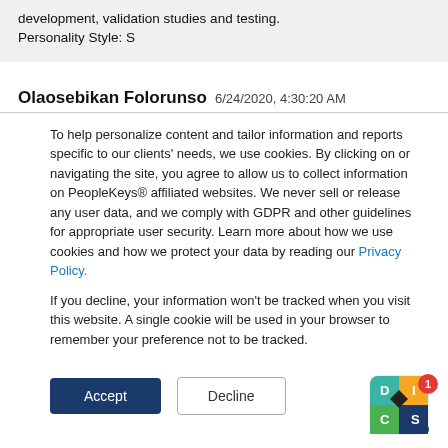development, validation studies and testing. Personality Style: S
Olaosebikan Folorunso 6/24/2020, 4:30:20 AM
To help personalize content and tailor information and reports specific to our clients' needs, we use cookies. By clicking on or navigating the site, you agree to allow us to collect information on PeopleKeys® affiliated websites. We never sell or release any user data, and we comply with GDPR and other guidelines for appropriate user security. Learn more about how we use cookies and how we protect your data by reading our Privacy Policy.
If you decline, your information won't be tracked when you visit this website. A single cookie will be used in your browser to remember your preference not to be tracked.
[Figure (logo): DISC logo badge with D, I, C, S quadrants in different colors and a notification badge showing '1']